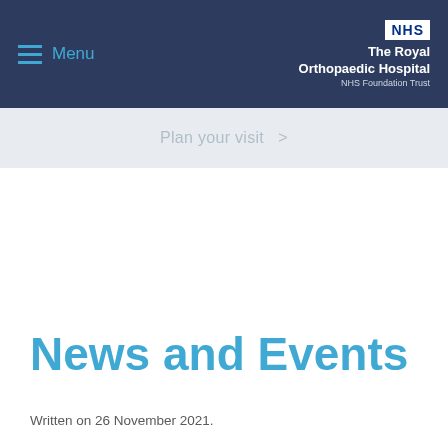Menu | The Royal Orthopaedic Hospital NHS Foundation Trust
Plan your visit >
News and Events
Written on 26 November 2021.